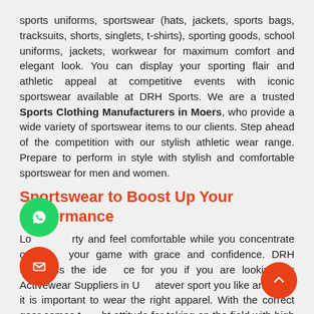sports uniforms, sportswear (hats, jackets, sports bags, tracksuits, shorts, singlets, t-shirts), sporting goods, school uniforms, jackets, workwear for maximum comfort and elegant look. You can display your sporting flair and athletic appeal at competitive events with iconic sportswear available at DRH Sports. We are a trusted Sports Clothing Manufacturers in Moers, who provide a wide variety of sportswear items to our clients. Step ahead of the competition with our stylish athletic wear range. Prepare to perform in style with stylish and comfortable sportswear for men and women.
Sportswear to Boost Up Your Performance
Look sporty and feel comfortable while you concentrate on winning your game with grace and confidence. DRH Sports is the ideal place for you if you are looking for Activewear Suppliers in USA. Whatever sport you like and play, it is important to wear the right apparel. With the correct gear comes the right attitude for taking on the field with high spirits. Find an